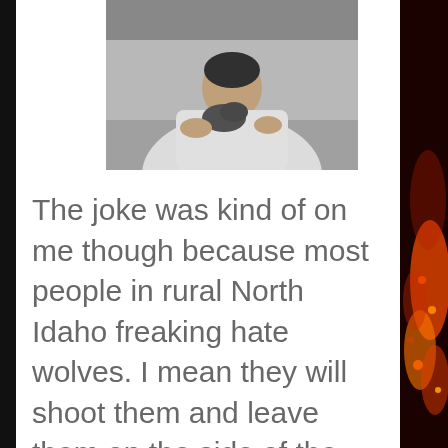[Figure (photo): A person in a white shirt holding a small animal, photo at top of page]
The joke was kind of on me though because most people in rural North Idaho freaking hate wolves. I mean they will shoot them and leave them on the side of the road. Apparently